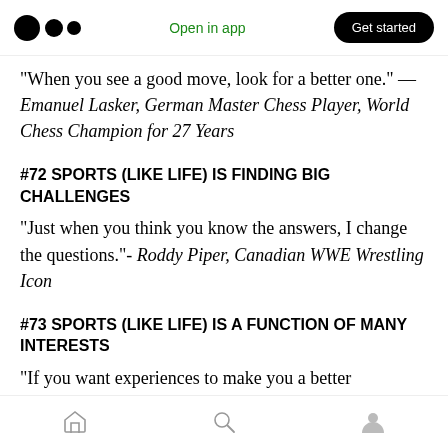Open in app | Get started
“When you see a good move, look for a better one.” — Emanuel Lasker, German Master Chess Player, World Chess Champion for 27 Years
#72 SPORTS (LIKE LIFE) IS FINDING BIG CHALLENGES
“Just when you think you know the answers, I change the questions.”- Roddy Piper, Canadian WWE Wrestling Icon
#73 SPORTS (LIKE LIFE) IS A FUNCTION OF MANY INTERESTS
“If you want experiences to make you a better
Home | Search | Profile